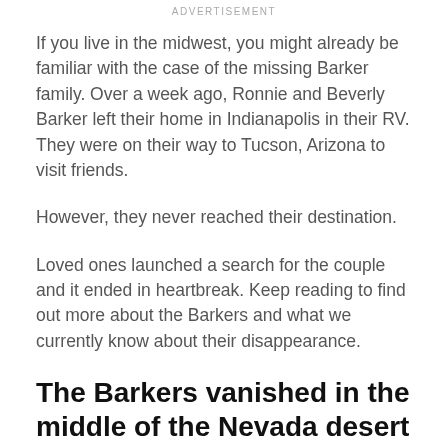ADVERTISEMENT
If you live in the midwest, you might already be familiar with the case of the missing Barker family. Over a week ago, Ronnie and Beverly Barker left their home in Indianapolis in their RV. They were on their way to Tucson, Arizona to visit friends.
However, they never reached their destination.
Loved ones launched a search for the couple and it ended in heartbreak. Keep reading to find out more about the Barkers and what we currently know about their disappearance.
The Barkers vanished in the middle of the Nevada desert last week.